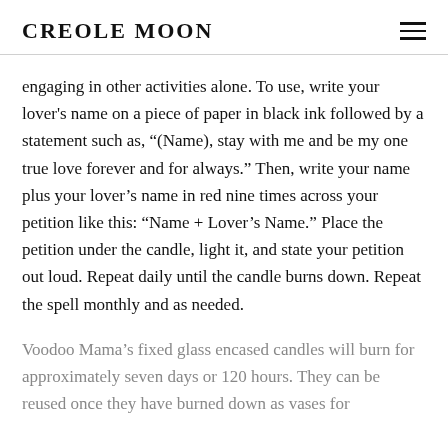CREOLE MOON
engaging in other activities alone. To use, write your lover's name on a piece of paper in black ink followed by a statement such as, “(Name), stay with me and be my one true love forever and for always.” Then, write your name plus your lover’s name in red nine times across your petition like this: “Name + Lover’s Name.” Place the petition under the candle, light it, and state your petition out loud. Repeat daily until the candle burns down. Repeat the spell monthly and as needed.
Voodoo Mama’s fixed glass encased candles will burn for approximately seven days or 120 hours. They can be reused once they have burned down as vases for